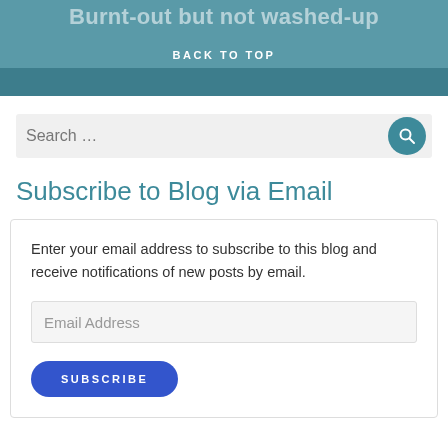Burnt-out but not washed-up
BACK TO TOP
Search …
Subscribe to Blog via Email
Enter your email address to subscribe to this blog and receive notifications of new posts by email.
Email Address
SUBSCRIBE